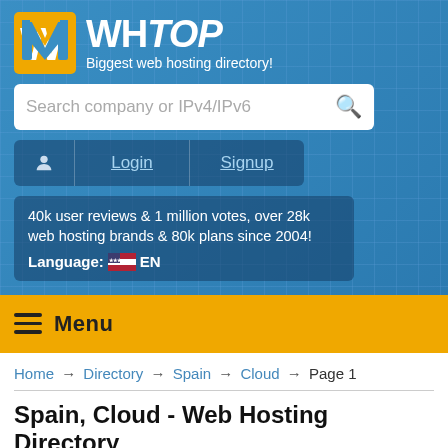[Figure (logo): WHTop logo with orange/yellow W icon and white text 'WHTOP - Biggest web hosting directory!']
Search company or IPv4/IPv6
Login  Signup
40k user reviews & 1 million votes, over 28k web hosting brands & 80k plans since 2004! Language: EN
Menu
Home → Directory → Spain → Cloud → Page 1
Spain, Cloud - Web Hosting Directory
WHTop maintain the biggest web hosting listing with 35 companies having facility in Spain. From most web site providers we list:
customers and users reviews + testimonials